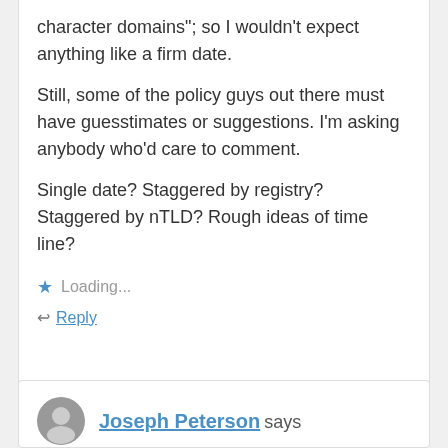character domains"; so I wouldn't expect anything like a firm date.
Still, some of the policy guys out there must have guesstimates or suggestions. I'm asking anybody who'd care to comment.
Single date? Staggered by registry? Staggered by nTLD? Rough ideas of time line?
Loading...
Reply
Joseph Peterson says
October 20, 2014 at 10:52 am
Correction: “CC.nTLD”
Loading...